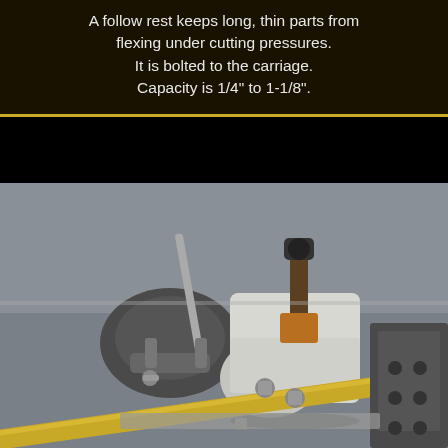A follow rest keeps long, thin parts from flexing under cutting pressures. It is bolted to the carriage. Capacity is 1/4" to 1-1/8".
[Figure (photo): Close-up photograph of a follow rest attached to a metal lathe carriage, supporting a brass rod. The white-painted cast iron follow rest has adjustment screws and bolts. A steady rest is visible in the background on the lathe bed.]